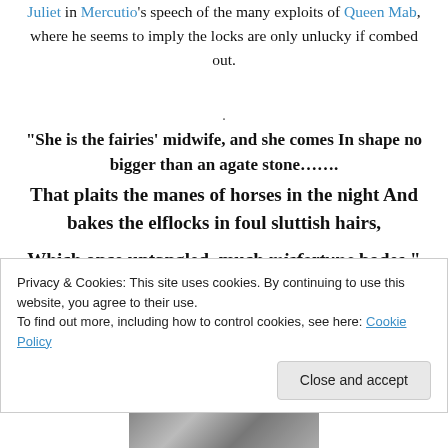Juliet in Mercutio's speech of the many exploits of Queen Mab, where he seems to imply the locks are only unlucky if combed out.
.
“She is the fairies’ midwife, and she comes In shape no bigger than an agate stone……

That plaits the manes of horses in the night And bakes the elflocks in foul sluttish hairs,

Which once untangled, much misfortune bodes.”
Privacy & Cookies: This site uses cookies. By continuing to use this website, you agree to their use.
To find out more, including how to control cookies, see here: Cookie Policy
[Figure (photo): Black and white photograph partially visible at the bottom of the page]